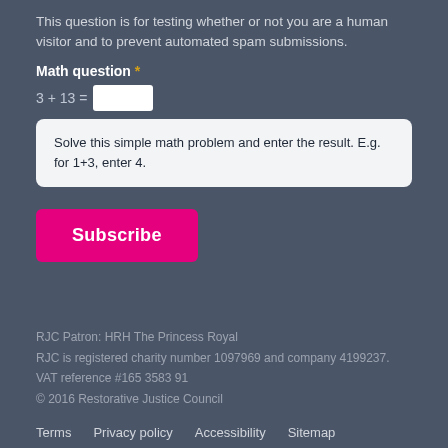This question is for testing whether or not you are a human visitor and to prevent automated spam submissions.
Math question *
3 + 13 = [input box]
Solve this simple math problem and enter the result. E.g. for 1+3, enter 4.
Subscribe
RJC Patron: HRH The Princess Royal
RJC is registered charity number 1097969 and company 4199237.
VAT reference #165 3583 91
© 2016 Restorative Justice Council
Terms   Privacy policy   Accessibility   Sitemap